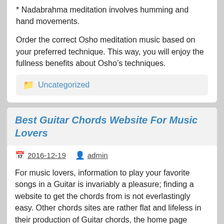* Nadabrahma meditation involves humming and hand movements.
Order the correct Osho meditation music based on your preferred technique. This way, you will enjoy the fullness benefits about Osho’s techniques.
📁 Uncategorized
Best Guitar Chords Website For Music Lovers
2016-12-19   admin
For music lovers, information to play your favorite songs in a Guitar is invariably a pleasure; finding a website to get the chords from is not everlastingly easy. Other chords sites are rather flat and lifeless in their production of Guitar chords, the home page